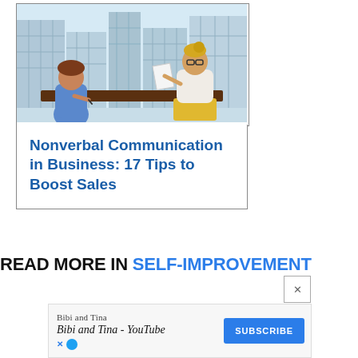[Figure (illustration): Illustration of two women in a business meeting at a desk in an office with a city skyline background. One woman in blue is seated on the left writing, the other in a white top and yellow skirt on the right holds a document.]
Nonverbal Communication in Business: 17 Tips to Boost Sales
READ MORE IN SELF-IMPROVEMENT
[Figure (screenshot): Advertisement banner for 'Bibi and Tina - YouTube' with a SUBSCRIBE button, X close button, and ad icons.]